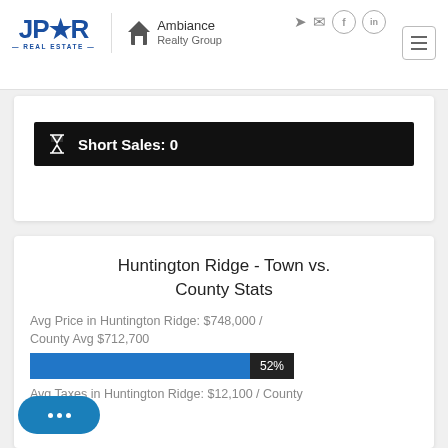JPAR Real Estate — Ambiance Realty Group
Short Sales: 0
Huntington Ridge - Town vs. County Stats
Avg Price in Huntington Ridge: $748,000 / County Avg $712,700
52%
Avg Taxes in Huntington Ridge: $12,100 / County Avg $...